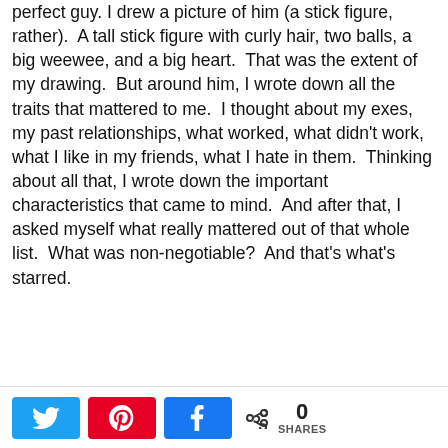perfect guy. I drew a picture of him (a stick figure, rather).  A tall stick figure with curly hair, two balls, a big weewee, and a big heart.  That was the extent of my drawing.  But around him, I wrote down all the traits that mattered to me.  I thought about my exes, my past relationships, what worked, what didn't work, what I like in my friends, what I hate in them.  Thinking about all that, I wrote down the important characteristics that came to mind.  And after that, I asked myself what really mattered out of that whole list.  What was non-negotiable?  And that's what's starred.
[Figure (other): Social share bar with Twitter, Pinterest, and Facebook share buttons, a share icon, the number 0, and the label SHARES]